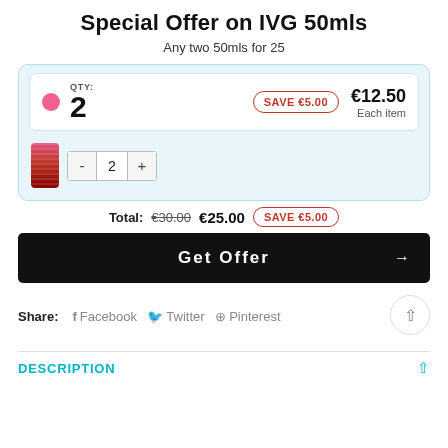Special Offer on IVG 50mls
Any two 50mls for 25
[Figure (infographic): Product offer card showing QTY 2, SAVE €5.00 badge, €12.50 per item price, product image with quantity controls (- 2 +)]
Total: €30.00 €25.00 SAVE €5.00
Get Offer →
Share: f Facebook 🐦 Twitter ⊕ Pinterest
DESCRIPTION